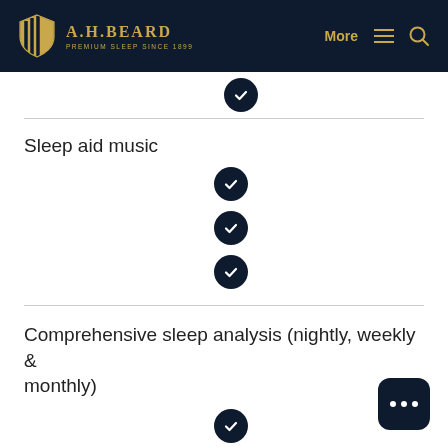[Figure (logo): A.H. Beard logo with shield emblem and text 'PREMIUM SLEEP SINCE 1899' on dark navy header bar]
[Figure (screenshot): Navigation bar with More menu icon and search icon in gold on dark navy background]
Sleep aid music
Comprehensive sleep analysis (nightly, weekly & monthly)